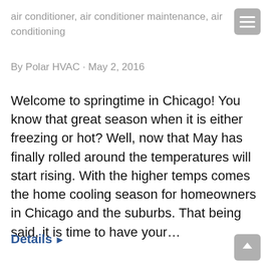air conditioner, air conditioner maintenance, air conditioning
By Polar HVAC · May 2, 2016
Welcome to springtime in Chicago! You know that great season when it is either freezing or hot? Well, now that May has finally rolled around the temperatures will start rising. With the higher temps comes the home cooling season for homeowners in Chicago and the suburbs. That being said, it is time to have your…
Details ▸